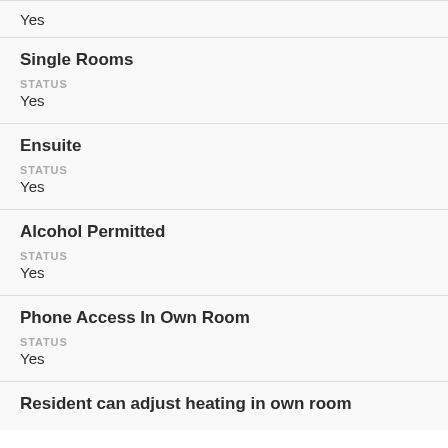Single Rooms
STATUS
Yes
Ensuite
STATUS
Yes
Alcohol Permitted
STATUS
Yes
Phone Access In Own Room
STATUS
Yes
Resident can adjust heating in own room